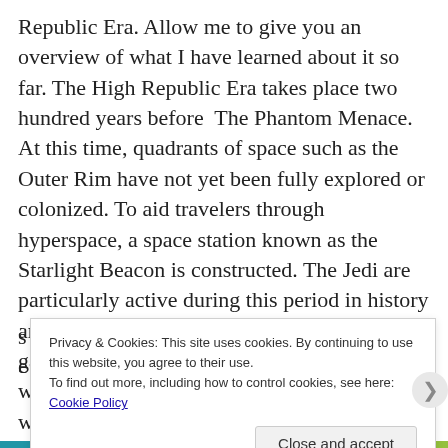Republic Era. Allow me to give you an overview of what I have learned about it so far. The High Republic Era takes place two hundred years before The Phantom Menace. At this time, quadrants of space such as the Outer Rim have not yet been fully explored or colonized. To aid travelers through hyperspace, a space station known as the Starlight Beacon is constructed. The Jedi are particularly active during this period in history and are expanding their influence across the galaxy. The story of the High Republic begins with an event known as the Great Disaster, which results in every ship in hyperspace being scattered across the galaxy. Presumably while this chaos is happening, the Nihil raiders emerge from the outskirts of space and start plundering the borders of the High Republic. It
Privacy & Cookies: This site uses cookies. By continuing to use this website, you agree to their use.
To find out more, including how to control cookies, see here: Cookie Policy
Close and accept